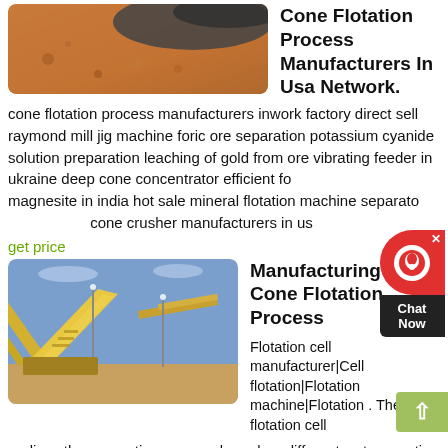[Figure (photo): Close-up photo of reddish-brown mineral/ore material with dark gray powder]
Cone Flotation Process Manufacturers In Usa Network.
cone flotation process manufacturers inwork factory direct sell raymond mill jig machine foric ore separation potassium cyanide solution preparation leaching of gold from ore vibrating feeder in ukraine deep cone concentrator efficient for magnesite in india hot sale mineral flotation machine separator cone crusher manufacturers in us
get price
[Figure (photo): Photo of large yellow industrial conveyor belt equipment / mining processing plant outdoors]
Manufacturing Cone Flotation Process
Flotation cell manufacturer|Cell flotation|Flotation machine|Flotation . The flotation cell realizes the separating process based on different wet properties of the minerals. In general, we call the floating difficulty of the